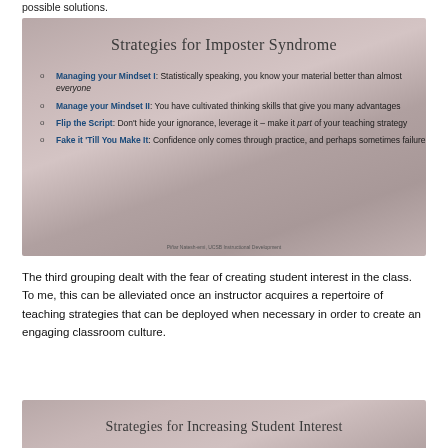possible solutions.
[Figure (screenshot): Presentation slide titled 'Strategies for Imposter Syndrome' with four bullet points: Managing your Mindset I, Manage your Mindset II, Flip the Script, Fake it 'Till You Make It]
The third grouping dealt with the fear of creating student interest in the class. To me, this can be alleviated once an instructor acquires a repertoire of teaching strategies that can be deployed when necessary in order to create an engaging classroom culture.
[Figure (screenshot): Presentation slide titled 'Strategies for Increasing Student Interest']